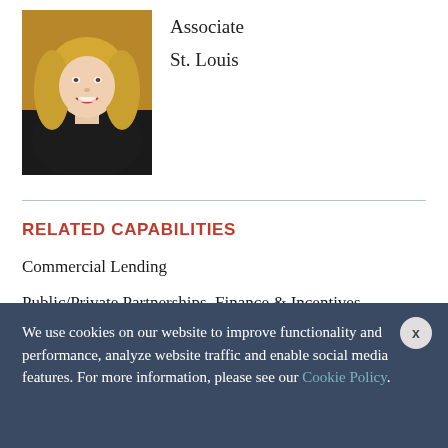[Figure (photo): Headshot of a blonde woman in a dark top, smiling, with a warm background]
Associate
St. Louis
RELATED CAPABILITIES
Commercial Lending
Public/Private Partnerships, Finance & Incentives
We use cookies on our website to improve functionality and performance, analyze website traffic and enable social media features. For more information, please see our Cookie Policy.